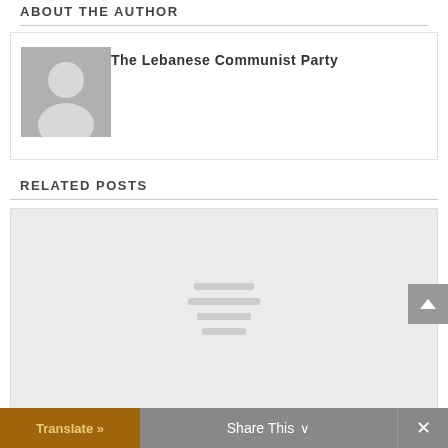ABOUT THE AUTHOR
[Figure (photo): Default author avatar placeholder — grey silhouette of a person]
The Lebanese Communist Party
RELATED POSTS
[Figure (photo): Light grey placeholder image for a related post with three horizontal lines icon in the center]
Translate »   Share This ∨   ✕